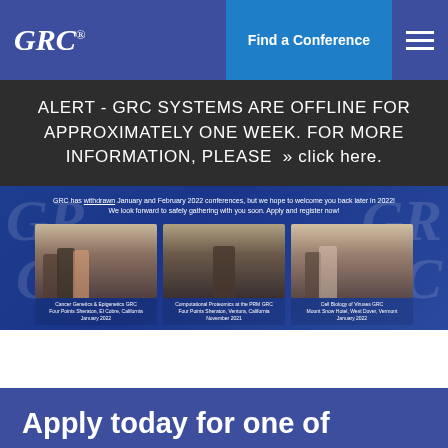GRC® | Find a Conference
ALERT - GRC SYSTEMS ARE OFFLINE FOR APPROXIMATELY ONE WEEK. FOR MORE INFORMATION, PLEASE » click here.
[Figure (photo): Three panels of conference attendees wearing masks at GRC conferences. Left panel shows three people standing together, center panel shows a person at a desk or presentation, right panel shows two people standing. Below each panel are small captions about the conference locations and dates.]
Apply today for one of